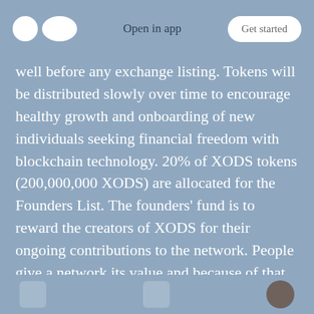Open in app | Get started
well before any exchange listing. Tokens will be distributed slowly over time to encourage healthy growth and onboarding of new individuals seeking financial freedom with blockchain technology. 20% of XODS tokens (200,000,000 XODS) are allocated for the Founders List. The founders' fund is to reward the creators of XODS for their ongoing contributions to the network. People give a network its value and because of that, we will always do what is best aligned with the interests of pioneer holders for many generations to come.